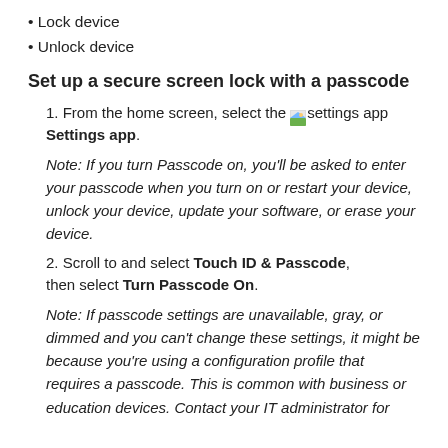• Lock device
• Unlock device
Set up a secure screen lock with a passcode
1. From the home screen, select the [settings icon] Settings app.
Note: If you turn Passcode on, you'll be asked to enter your passcode when you turn on or restart your device, unlock your device, update your software, or erase your device.
2. Scroll to and select Touch ID & Passcode, then select Turn Passcode On.
Note: If passcode settings are unavailable, gray, or dimmed and you can't change these settings, it might be because you're using a configuration profile that requires a passcode. This is common with business or education devices. Contact your IT administrator for...